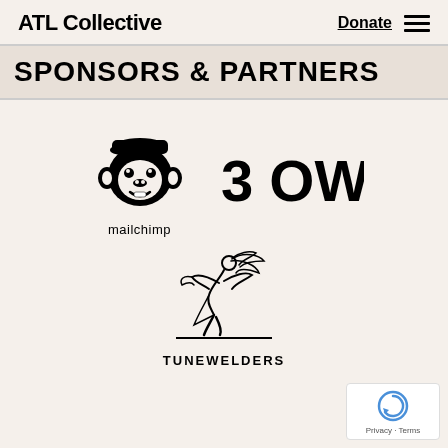ATL Collective   Donate  ☰
SPONSORS & PARTNERS
[Figure (logo): Mailchimp logo: cartoon chimp head with cap, below which reads 'mailchimp' in lowercase]
[Figure (logo): 3 OWL logo: text reading '3 OWL' in bold sans-serif with a stylized icon]
[Figure (logo): Tunewelders logo: stylized figure of a woman with flowing hair above a baseline with 'TUNEWELDERS' text]
[Figure (logo): Google reCAPTCHA badge with circular arrow icon and 'Privacy · Terms' text]